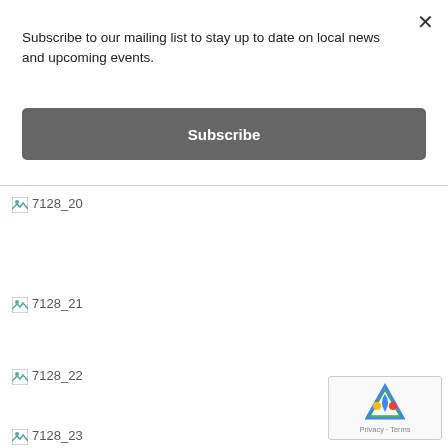Subscribe to our mailing list to stay up to date on local news and upcoming events.
Subscribe
[Figure (other): Broken image placeholder labeled 7128_20]
[Figure (other): Broken image placeholder labeled 7128_21]
[Figure (other): Broken image placeholder labeled 7128_22]
[Figure (other): Broken image placeholder labeled 7128_23]
[Figure (other): Google reCAPTCHA badge with Privacy and Terms links]